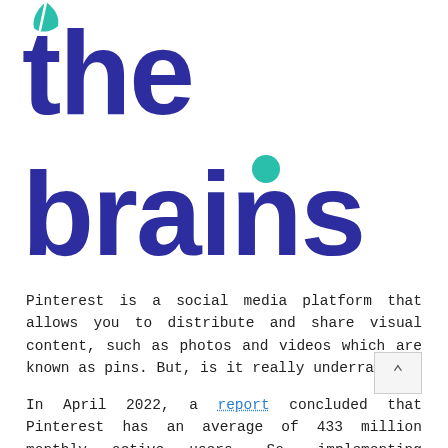[Figure (logo): The Brains logo — large bold dark blue text 'the' on first line and 'brains' on second line, with a teal/green circular dot above the 'i' in brains, and a small green leaf icon at the top left]
Pinterest is a social media platform that allows you to distribute and share visual content, such as photos and videos which are known as pins. But, is it really underrated?
In April 2022, a report concluded that Pinterest has an average of 433 million monthly active users. So, implementing Pinterest marketing tools within your SEO strategies is definitely a good choice.
When creating pins, you can create engaging content and